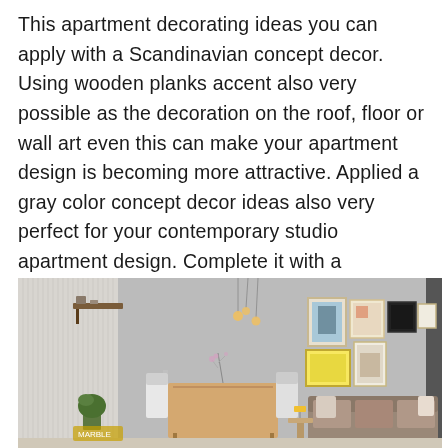This apartment decorating ideas you can apply with a Scandinavian concept decor. Using wooden planks accent also very possible as the decoration on the roof, floor or wall art even this can make your apartment design is becoming more attractive. Applied a gray color concept decor ideas also very perfect for your contemporary studio apartment design. Complete it with a Scandinavian furniture which very appropriates to adjust here. Using modern lights which have a bulb shape model to support your design. You may add other decoration or ornament if it is needed.
[Figure (photo): Interior photo of a Scandinavian-style studio apartment showing a dining area on the left with wooden table, chairs, pendant globe lights, and a shelf with decor; on the right a living area with a gray sofa, decorative pillows, a side table with a yellow lamp, and a gallery wall of framed pictures. Light gray walls throughout.]